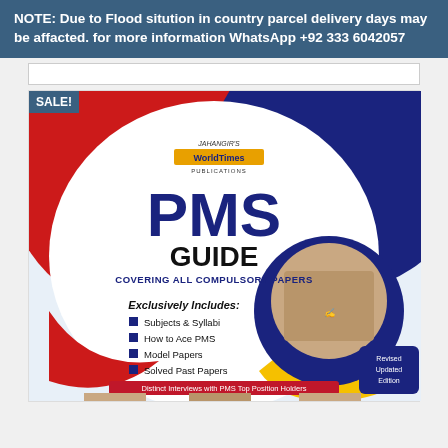NOTE: Due to Flood sitution in country parcel delivery days may be affacted. for more information WhatsApp +92 333 6042057
[Figure (illustration): PMS Guide book cover by Jahangir's World Times Publications. Shows 'PMS GUIDE - Covering All Compulsory Papers'. Exclusively Includes: Subjects & Syllabi, How to Ace PMS, Model Papers, Solved Past Papers. Revised Updated Edition. Distinct Interviews with PMS Top Position Holders. Red, blue, yellow circular design with student writing photo.]